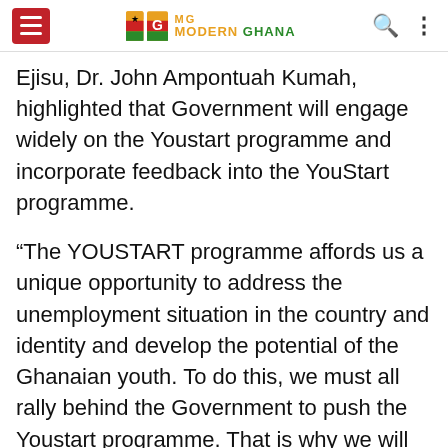Modern Ghana (logo header)
Ejisu, Dr. John Ampontuah Kumah, highlighted that Government will engage widely on the Youstart programme and incorporate feedback into the YouStart programme.
“The YOUSTART programme affords us a unique opportunity to address the unemployment situation in the country and identity and develop the potential of the Ghanaian youth. To do this, we must all rally behind the Government to push the Youstart programme. That is why we will engage Ghanaians before the President launches it,” he said.
Also present at the ceremony was the Minister For Local Government and member of Parliament for Okere, Mr. Dan Botwe, Chief Executive Officers of the